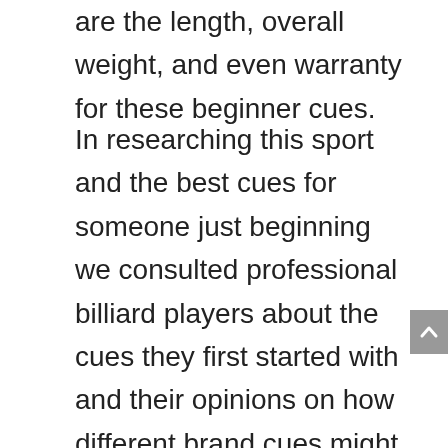are the length, overall weight, and even warranty for these beginner cues.
In researching this sport and the best cues for someone just beginning we consulted professional billiard players about the cues they first started with and their opinions on how different brand cues might change a players overall game. We also spoke with manufacturers for the products listed below and consulted verified customers to see what they liked or didn't like about their purchase. The following results are organized into a comprehensive product chart listing in-detail reviews of each product, as well